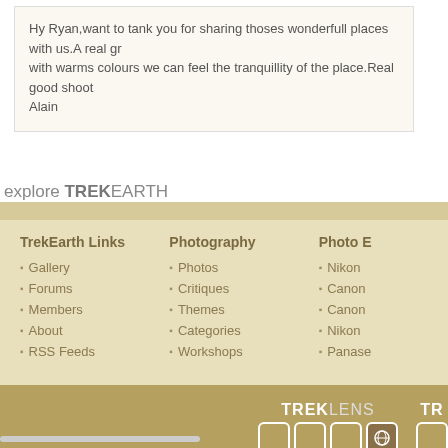Hy Ryan,want to tank you for sharing thoses wonderfull places with us.A real gr with warms colours we can feel the tranquillity of the place.Real good shoot Alain
explore TREKEARTH
TrekEarth Links
Gallery
Forums
Members
About
RSS Feeds
Photography
Photos
Critiques
Themes
Categories
Workshops
Photo E
Nikon
Canon
Canon
Nikon
Panase
[Figure (logo): TrekLens logo with icon boxes and partial TR logo]
Copyright © 2018 MH Sub I, LLC dba Internet Brands. All rig Advertise | Privacy Po